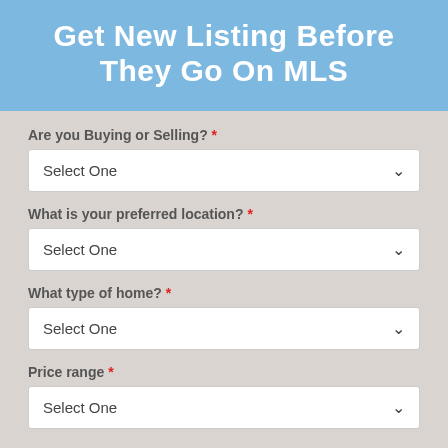Get New Listing Before They Go On MLS
Are you Buying or Selling? *
Select One
What is your preferred location? *
Select One
What type of home? *
Select One
Price range *
Select One